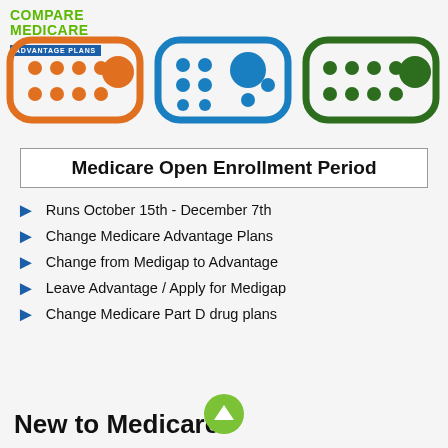[Figure (logo): Compare Medicare Advantage Plans logo — green text with blue badge]
[Figure (illustration): Three pill/container icons in orange, blue, and dark green with dot patterns representing Medicare plan tiers]
Medicare Open Enrollment Period
Runs October 15th - December 7th
Change Medicare Advantage Plans
Change from Medigap to Advantage
Leave Advantage / Apply for Medigap
Change Medicare Part D drug plans
New to Medicare?
[Figure (illustration): Green circle button with upward chevron arrow]